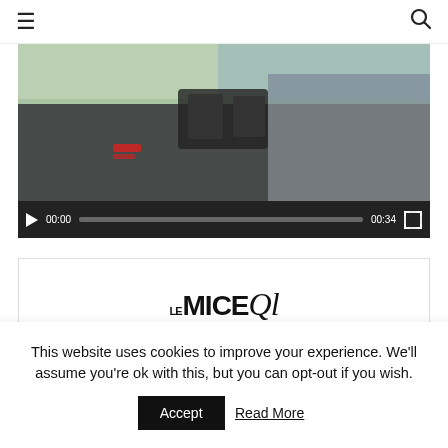☰  🔍
[Figure (screenshot): Video player showing a person (blonde woman) looking through binoculars outdoors near water. Player controls show 00:00 / 00:34 with progress bar and fullscreen button.]
[Figure (logo): The MICE Club logo inside a bordered advertisement box]
This website uses cookies to improve your experience. We'll assume you're ok with this, but you can opt-out if you wish.
Accept   Read More